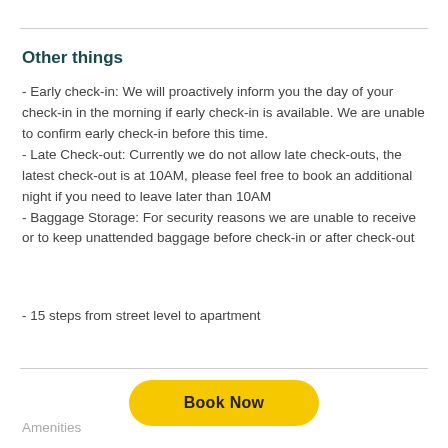Other things
- Early check-in: We will proactively inform you the day of your check-in in the morning if early check-in is available. We are unable to confirm early check-in before this time.
- Late Check-out: Currently we do not allow late check-outs, the latest check-out is at 10AM, please feel free to book an additional night if you need to leave later than 10AM
- Baggage Storage: For security reasons we are unable to receive or to keep unattended baggage before check-in or after check-out
- 15 steps from street level to apartment
Book Now
Amenities